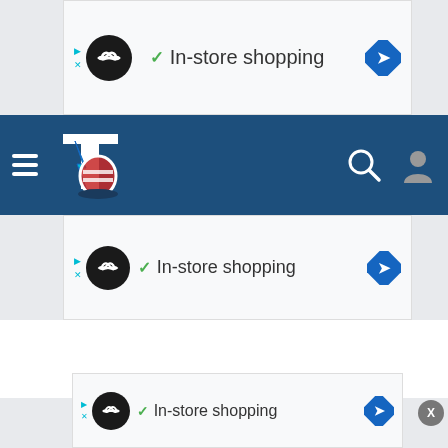[Figure (screenshot): Top ad banner with infinity logo, checkmark, 'In-store shopping' text, and navigation arrow (blue diamond)]
[Figure (screenshot): Navigation bar with dark blue background, hamburger menu, lightning bolt logo, search icon, and user profile icon]
[Figure (screenshot): Second ad banner with infinity logo, checkmark, 'In-store shopping' text, and navigation arrow (blue diamond)]
[Figure (screenshot): Bottom partial ad banner with infinity logo, checkmark, 'In-store shopping' text, navigation arrow, and X close button]
X